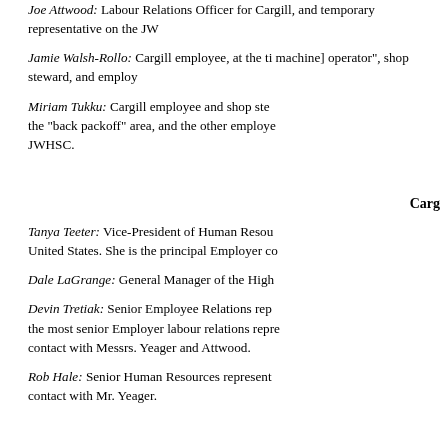Joe Attwood: Labour Relations Officer for Cargill, and temporary representative on the JWHSC.
Jamie Walsh-Rollo: Cargill employee, at the time a "[machine] operator", shop steward, and employee representative on the JWHSC.
Miriam Tukku: Cargill employee and shop steward in the "back packoff" area, and the other employee representative on the JWHSC.
Carg
Tanya Teeter: Vice-President of Human Resources for the United States. She is the principal Employer co
Dale LaGrange: General Manager of the High
Devin Tretiak: Senior Employee Relations rep, the most senior Employer labour relations repre, contact with Messrs. Yeager and Attwood.
Rob Hale: Senior Human Resources represent, contact with Mr. Yeager.